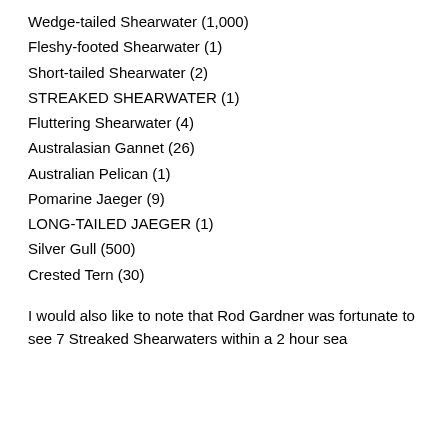Wedge-tailed Shearwater (1,000)
Fleshy-footed Shearwater (1)
Short-tailed Shearwater (2)
STREAKED SHEARWATER (1)
Fluttering Shearwater (4)
Australasian Gannet (26)
Australian Pelican (1)
Pomarine Jaeger (9)
LONG-TAILED JAEGER (1)
Silver Gull (500)
Crested Tern (30)
I would also like to note that Rod Gardner was fortunate to see 7 Streaked Shearwaters within a 2 hour sea